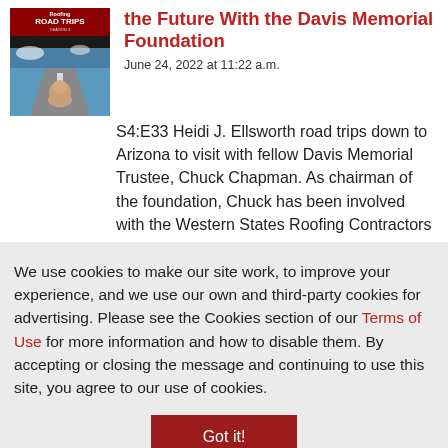[Figure (photo): Thumbnail image showing 'Roofing Road Trips' podcast cover with a road scene and a man's photo]
the Future With the Davis Memorial Foundation
June 24, 2022 at 11:22 a.m.
S4:E33 Heidi J. Ellsworth road trips down to Arizona to visit with fellow Davis Memorial Trustee, Chuck Chapman. As chairman of the foundation, Chuck has been involved with the Western States Roofing Contractors
We use cookies to make our site work, to improve your experience, and we use our own and third-party cookies for advertising. Please see the Cookies section of our Terms of Use for more information and how to disable them. By accepting or closing the message and continuing to use this site, you agree to our use of cookies.
Got it!